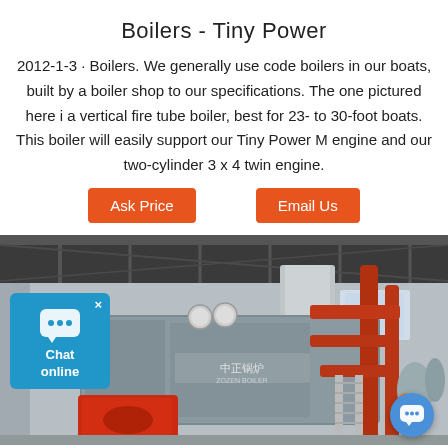Boilers - Tiny Power
2012-1-3 · Boilers. We generally use code boilers in our boats, built by a boiler shop to our specifications. The one pictured here i a vertical fire tube boiler, best for 23- to 30-foot boats. This boiler will easily support our Tiny Power M engine and our two-cylinder 3 x 4 twin engine.
[Figure (photo): Industrial fire tube boiler in a factory/warehouse setting, with red pipes and a large cylindrical gray boiler body. A worker is visible in background. Branded with Chinese text and logo.]
[Figure (infographic): Chat online widget (blue box with chat bubble icon, x close button, and 'Chat online' label) overlaid on lower left of photo. A circular blue chat bubble button in lower right.]